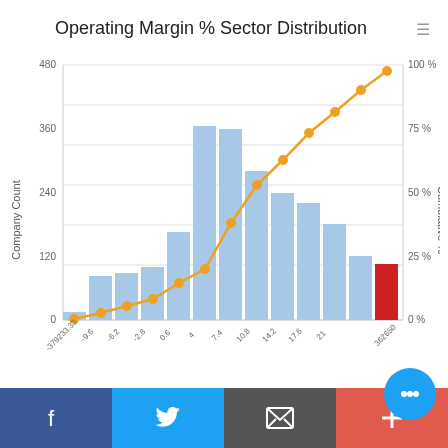Operating Margin % Sector Distribution
[Figure (continuous-plot): Histogram of company counts by operating margin % bins with a cumulative percentage line (orange dots) overlaid. X-axis shows bins from -379233.33 to 362650. Y-axis left shows Company Count 0-480. Y-axis right shows Cumulative % 0-100%. Bars are light blue with one red bar near the right end. The orange cumulative line rises steeply through the middle bins.]
Operating Margin %
GuruFocus.
Facebook | Twitter | Email | Plus